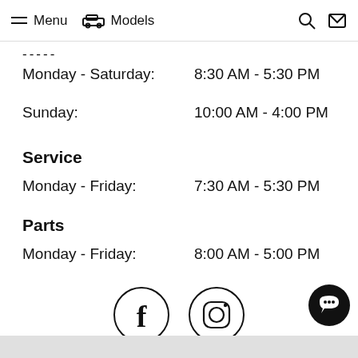Menu   Models
-----
Monday - Saturday:   8:30 AM - 5:30 PM
Sunday:   10:00 AM - 4:00 PM
Service
Monday - Friday:   7:30 AM - 5:30 PM
Parts
Monday - Friday:   8:00 AM - 5:00 PM
[Figure (illustration): Facebook and Instagram social media icons in circles]